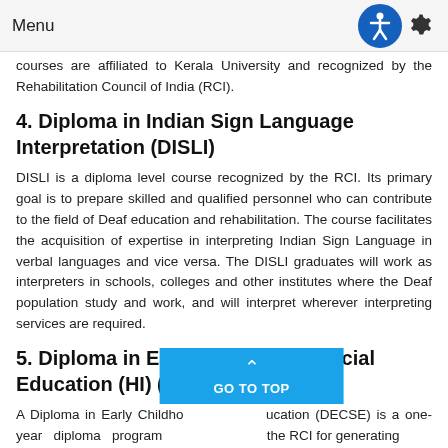Menu
...courses are affiliated to Kerala University and recognized by the Rehabilitation Council of India (RCI).
4. Diploma in Indian Sign Language Interpretation (DISLI)
DISLI is a diploma level course recognized by the RCI. Its primary goal is to prepare skilled and qualified personnel who can contribute to the field of Deaf education and rehabilitation. The course facilitates the acquisition of expertise in interpreting Indian Sign Language in verbal languages and vice versa. The DISLI graduates will work as interpreters in schools, colleges and other institutes where the Deaf population study and work, and will interpret wherever interpreting services are required.
5. Diploma in Early Childhood Special Education (HI) (DECSE (HI))
A Diploma in Early Childhood...ucation (DECSE) is a one-year diploma program approved by the RCI for generating